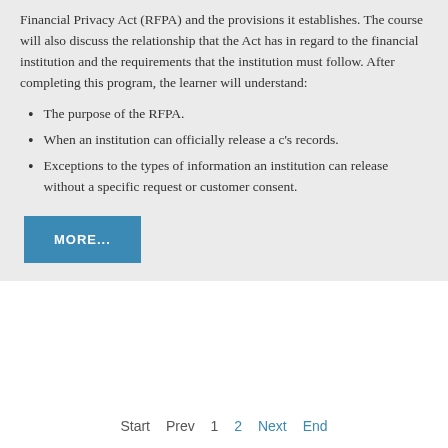Financial Privacy Act (RFPA) and the provisions it establishes. The course will also discuss the relationship that the Act has in regard to the financial institution and the requirements that the institution must follow. After completing this program, the learner will understand:
The purpose of the RFPA.
When an institution can officially release a c's records.
Exceptions to the types of information an institution can release without a specific request or customer consent.
MORE...
Start   Prev   1   2   Next   End